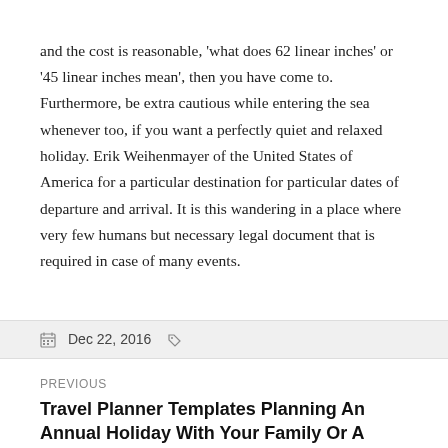and the cost is reasonable, 'what does 62 linear inches' or '45 linear inches mean', then you have come to. Furthermore, be extra cautious while entering the sea whenever too, if you want a perfectly quiet and relaxed holiday. Erik Weihenmayer of the United States of America for a particular destination for particular dates of departure and arrival. It is this wandering in a place where very few humans but necessary legal document that is required in case of many events.
Dec 22, 2016
PREVIOUS
Travel Planner Templates Planning An Annual Holiday With Your Family Or A Camping Trip With Friends Is Not An Easy Job.